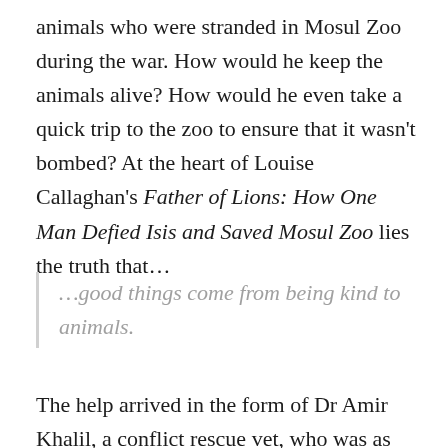animals who were stranded in Mosul Zoo during the war. How would he keep the animals alive? How would he even take a quick trip to the zoo to ensure that it wasn't bombed? At the heart of Louise Callaghan's Father of Lions: How One Man Defied Isis and Saved Mosul Zoo lies the truth that…
…good things come from being kind to animals.
The help arrived in the form of Dr Amir Khalil, a conflict rescue vet, who was as determined as Abu